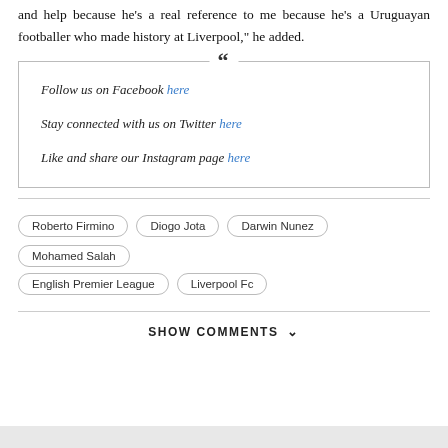and help because he's a real reference to me because he's a Uruguayan footballer who made history at Liverpool," he added.
Follow us on Facebook here
Stay connected with us on Twitter here
Like and share our Instagram page here
Roberto Firmino
Diogo Jota
Darwin Nunez
Mohamed Salah
English Premier League
Liverpool Fc
SHOW COMMENTS